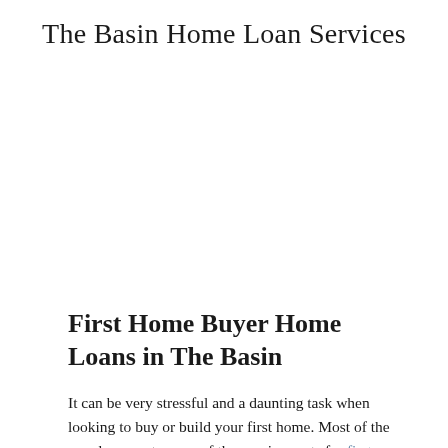The Basin Home Loan Services
First Home Buyer Home Loans in The Basin
It can be very stressful and a daunting task when looking to buy or build your first home. Most of the people are not aware of the requirements for first home